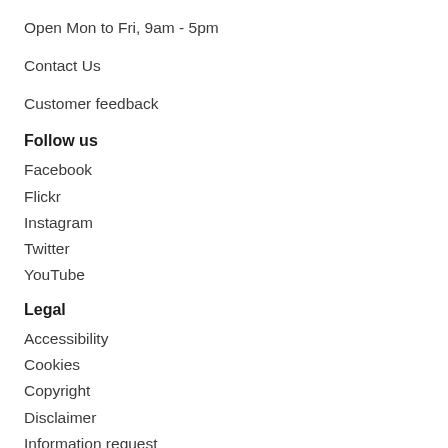Open Mon to Fri, 9am - 5pm
Contact Us
Customer feedback
Follow us
Facebook
Flickr
Instagram
Twitter
YouTube
Legal
Accessibility
Cookies
Copyright
Disclaimer
Information request